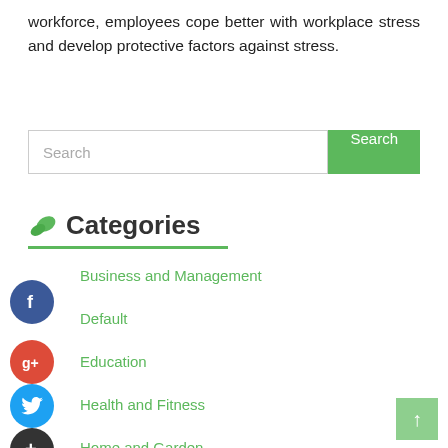workforce, employees cope better with workplace stress and develop protective factors against stress.
[Figure (screenshot): Search input field with green Search button]
Categories
Business and Management
Default
Education
Health and Fitness
Home and Garden
Legal
Marketing and Advertising